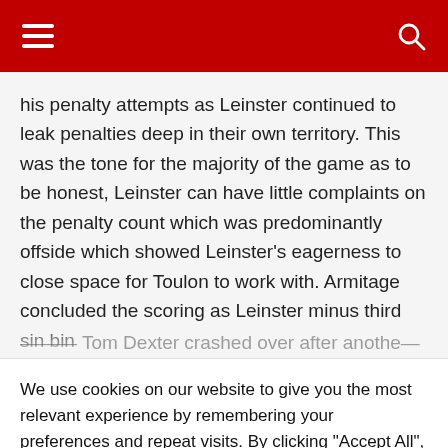Navigation bar with hamburger menu and search icon
his penalty attempts as Leinster continued to leak penalties deep in their own territory. This was the tone for the majority of the game as to be honest, Leinster can have little complaints on the penalty count which was predominantly offside which showed Leinster's eagerness to close space for Toulon to work with. Armitage concluded the scoring as Leinster minus third sin bin [text cut off]
We use cookies on our website to give you the most relevant experience by remembering your preferences and repeat visits. By clicking "Accept All", you consent to the use of ALL the cookies. However, you may visit "Cookie Settings" to provide a controlled consent.
Cookie Settings
Accept All